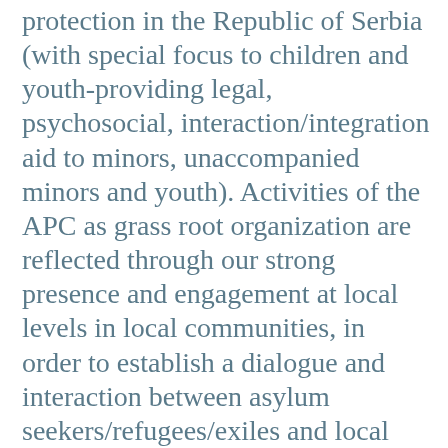protection in the Republic of Serbia (with special focus to children and youth-providing legal, psychosocial, interaction/integration aid to minors, unaccompanied minors and youth). Activities of the APC as grass root organization are reflected through our strong presence and engagement at local levels in local communities, in order to establish a dialogue and interaction between asylum seekers/refugees/exiles and local citizens; p… read more